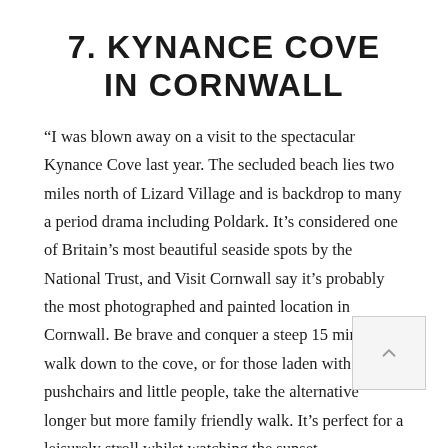7. KYNANCE COVE IN CORNWALL
“I was blown away on a visit to the spectacular Kynance Cove last year. The secluded beach lies two miles north of Lizard Village and is backdrop to many a period drama including Poldark. It’s considered one of Britain’s most beautiful seaside spots by the National Trust, and Visit Cornwall say it’s probably the most photographed and painted location in Cornwall. Be brave and conquer a steep 15 minute walk down to the cove, or for those laden with pushchairs and little people, take the alternative longer but more family friendly walk. It’s perfect for a leisurely stroll whilst watching the sunset